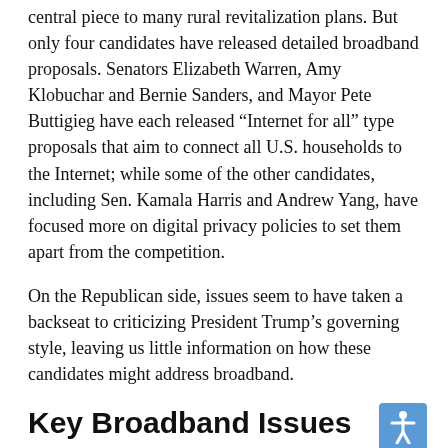central piece to many rural revitalization plans. But only four candidates have released detailed broadband proposals. Senators Elizabeth Warren, Amy Klobuchar and Bernie Sanders, and Mayor Pete Buttigieg have each released “Internet for all” type proposals that aim to connect all U.S. households to the Internet; while some of the other candidates, including Sen. Kamala Harris and Andrew Yang, have focused more on digital privacy policies to set them apart from the competition.
On the Republican side, issues seem to have taken a backseat to criticizing President Trump’s governing style, leaving us little information on how these candidates might address broadband.
Key Broadband Issues
We’ve selected five key broadband issues that impact Americans today, and have listed each candidate based upon whether or not that have articulated policy